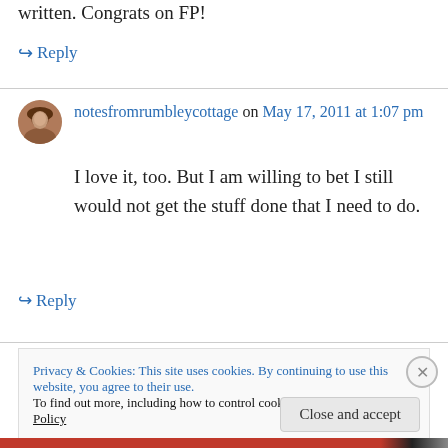written. Congrats on FP!
↪ Reply
notesfromrumbleycottage on May 17, 2011 at 1:07 pm
I love it, too. But I am willing to bet I still would not get the stuff done that I need to do.
↪ Reply
Privacy & Cookies: This site uses cookies. By continuing to use this website, you agree to their use.
To find out more, including how to control cookies, see here: Cookie Policy